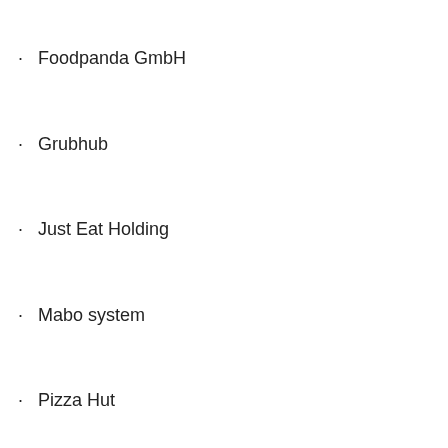Foodpanda GmbH
Grubhub
Just Eat Holding
Mabo system
Pizza Hut
Snapfinger
and Takeaway